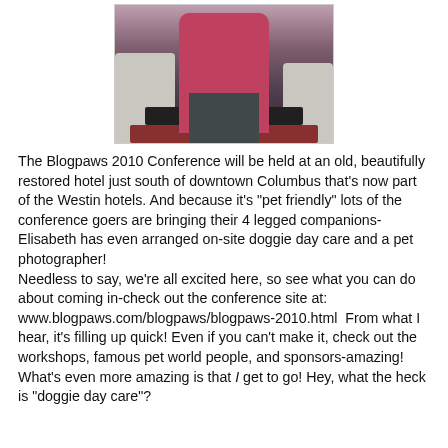[Figure (photo): Person in pink/magenta top sitting on a light-colored sofa chair, holding a notepad, with a dark coffee table and red rug visible.]
The Blogpaws 2010 Conference will be held at an old, beautifully restored hotel just south of downtown Columbus that's now part of the Westin hotels. And because it's "pet friendly" lots of the conference goers are bringing their 4 legged companions-Elisabeth has even arranged on-site doggie day care and a pet photographer!
Needless to say, we're all excited here, so see what you can do about coming in-check out the conference site at: www.blogpaws.com/blogpaws/blogpaws-2010.html  From what I hear, it's filling up quick! Even if you can't make it, check out the workshops, famous pet world people, and sponsors-amazing! What's even more amazing is that I get to go! Hey, what the heck is "doggie day care"?